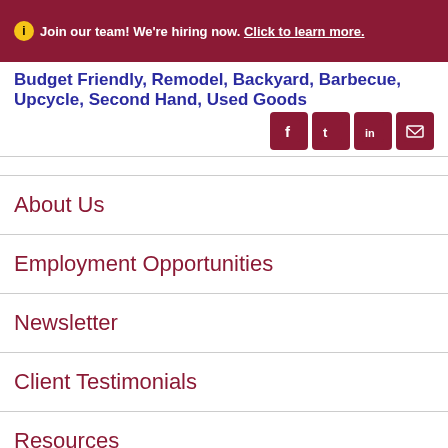Join our team! We're hiring now. Click to learn more.
Budget Friendly, Remodel, Backyard, Barbecue, Upcycle, Second Hand, Used Goods
About Us
Employment Opportunities
Newsletter
Client Testimonials
Resources